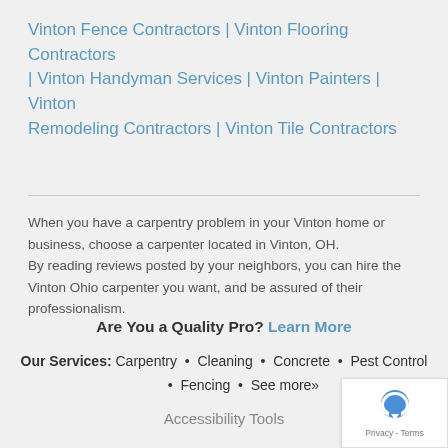Vinton Fence Contractors | Vinton Flooring Contractors | Vinton Handyman Services | Vinton Painters | Vinton Remodeling Contractors | Vinton Tile Contractors
When you have a carpentry problem in your Vinton home or business, choose a carpenter located in Vinton, OH.
By reading reviews posted by your neighbors, you can hire the Vinton Ohio carpenter you want, and be assured of their professionalism.
Are You a Quality Pro? Learn More
Our Services: Carpentry • Cleaning • Concrete • Pest Control • Fencing • See more»
Accessibility Tools